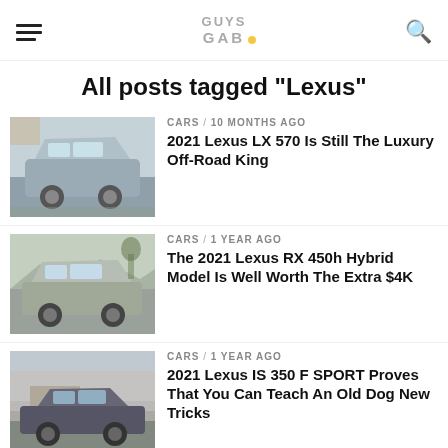GUYS GAB [logo]
All posts tagged "Lexus"
[Figure (photo): Silver Lexus LX 570 SUV parked outdoors in a desert setting]
CARS / 10 months ago
2021 Lexus LX 570 Is Still The Luxury Off-Road King
[Figure (photo): Silver Lexus RX 450h parked in a driveway with mountains in background]
CARS / 1 year ago
The 2021 Lexus RX 450h Hybrid Model Is Well Worth The Extra $4K
[Figure (photo): Dark Lexus IS 350 F SPORT parked in front of a house with garage]
CARS / 1 year ago
2021 Lexus IS 350 F SPORT Proves That You Can Teach An Old Dog New Tricks
[Figure (photo): Lexus LF-Z Electrified Concept car (partially visible, faded)]
CARS / 1 year ago
Lexus LF-Z Electrified Concept Gives Us A Glimpse Into The Near Future